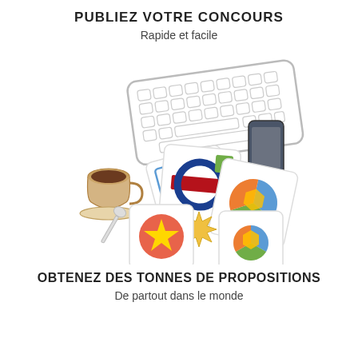PUBLIEZ VOTRE CONCOURS
Rapide et facile
[Figure (illustration): Top-down view of a desk with a wireless keyboard, a smartphone, a coffee cup with spoon, and several logo/icon cards scattered around]
OBTENEZ DES TONNES DE PROPOSITIONS
De partout dans le monde